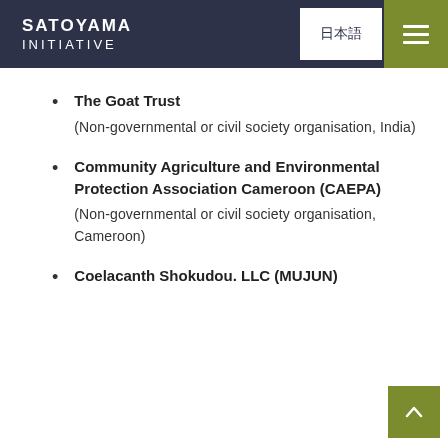SATOYAMA INITIATIVE | 日本語 | menu
The Goat Trust (Non-governmental or civil society organisation, India)
Community Agriculture and Environmental Protection Association Cameroon (CAEPA) (Non-governmental or civil society organisation, Cameroon)
Coelacanth Shokudou. LLC (MUJUN)